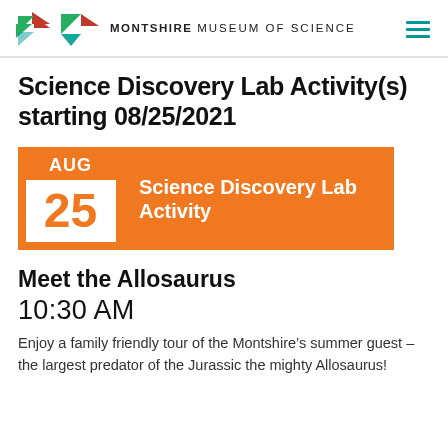Montshire Museum of Science
Science Discovery Lab Activity(s) starting 08/25/2021
[Figure (infographic): Calendar event badge showing AUG 25 in orange with Science Discovery Lab Activity title]
Meet the Allosaurus
10:30 AM
Enjoy a family friendly tour of the Montshire’s summer guest – the largest predator of the Jurassic the mighty Allosaurus!